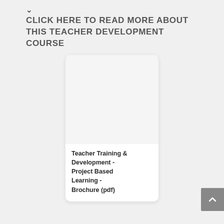↓ CLICK HERE TO READ MORE ABOUT THIS TEACHER DEVELOPMENT COURSE
[Figure (other): Card showing a document brochure thumbnail with white background and rounded corners]
Teacher Training & Development - Project Based Learning - Brochure (pdf)